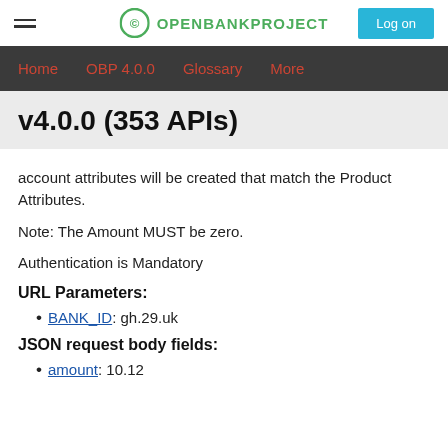OPENBANKPROJECT — Log on
Home   OBP 4.0.0   Glossary   More
v4.0.0 (353 APIs)
account attributes will be created that match the Product Attributes.
Note: The Amount MUST be zero.
Authentication is Mandatory
URL Parameters:
BANK_ID: gh.29.uk
JSON request body fields:
amount: 10.12